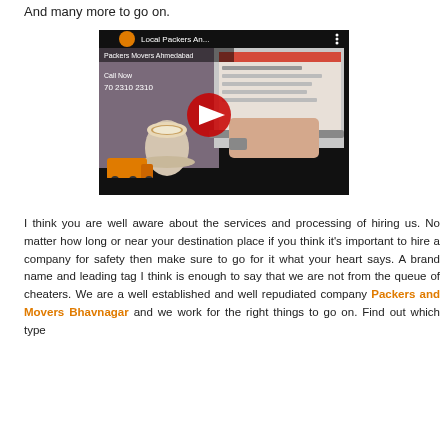And many more to go on.
[Figure (screenshot): YouTube video thumbnail showing 'Local Packers An...' from Packers Movers Ahmedabad channel, featuring a laptop with a website open, a coffee cup, and a YouTube play button overlay.]
I think you are well aware about the services and processing of hiring us. No matter how long or near your destination place if you think it's important to hire a company for safety then make sure to go for it what your heart says. A brand name and leading tag I think is enough to say that we are not from the queue of cheaters. We are a well established and well repudiated company Packers and Movers Bhavnagar and we work for the right things to go on. Find out which type